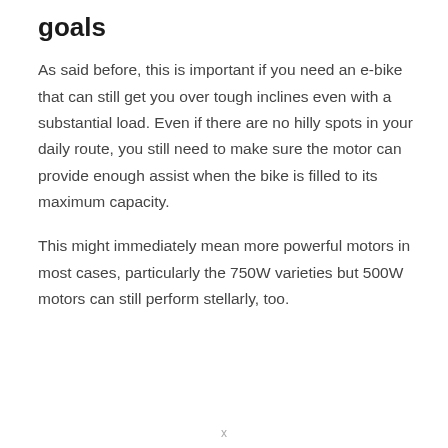goals
As said before, this is important if you need an e-bike that can still get you over tough inclines even with a substantial load. Even if there are no hilly spots in your daily route, you still need to make sure the motor can provide enough assist when the bike is filled to its maximum capacity.
This might immediately mean more powerful motors in most cases, particularly the 750W varieties but 500W motors can still perform stellarly, too.
x